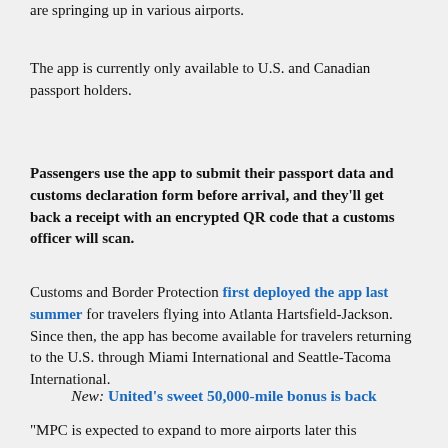are springing up in various airports.
The app is currently only available to U.S. and Canadian passport holders.
Passengers use the app to submit their passport data and customs declaration form before arrival, and they'll get back a receipt with an encrypted QR code that a customs officer will scan.
Customs and Border Protection first deployed the app last summer for travelers flying into Atlanta Hartsfield-Jackson. Since then, the app has become available for travelers returning to the U.S. through Miami International and Seattle-Tacoma International.
New: United's sweet 50,000-mile bonus is back
“MPC is expected to expand to more airports later this